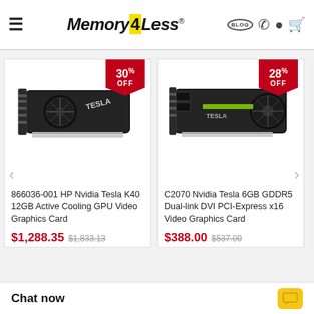Memory4Less — Blog, Phone, Account, Cart
[Figure (photo): 866036-001 HP Nvidia Tesla K40 12GB GPU video card image with 30% OFF badge]
866036-001 HP Nvidia Tesla K40 12GB Active Cooling GPU Video Graphics Card
$1,288.35  $1,833.13
[Figure (photo): C2070 Nvidia Tesla 6GB GDDR5 GPU video card image with 28% OFF badge]
C2070 Nvidia Tesla 6GB GDDR5 Dual-link DVI PCI-Express x16 Video Graphics Card
$388.00  $537.00
Chat now